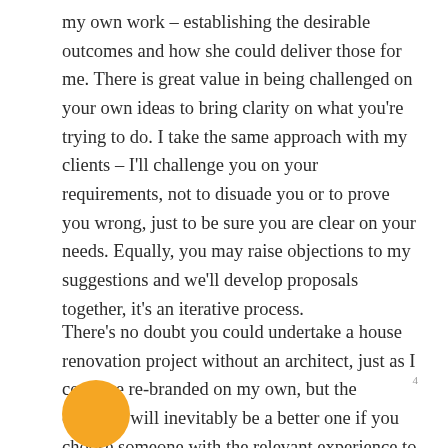my own work – establishing the desirable outcomes and how she could deliver those for me. There is great value in being challenged on your own ideas to bring clarity on what you're trying to do. I take the same approach with my clients – I'll challenge you on your requirements, not to disuade you or to prove you wrong, just to be sure you are clear on your needs. Equally, you may raise objections to my suggestions and we'll develop proposals together, it's an iterative process.
There's no doubt you could undertake a house renovation project without an architect, just as I could've re-branded on my own, but the outcome will inevitably be a better one if you choose someone with the relevant experience to guide you through it.